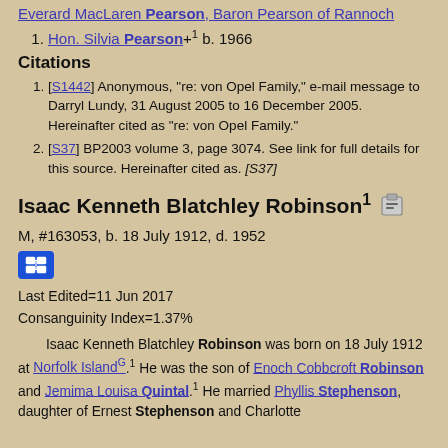Everard MacLaren Pearson, Baron Pearson of Rannoch
Hon. Silvia Pearson+1 b. 1966
Citations
[S1442] Anonymous, "re: von Opel Family," e-mail message to Darryl Lundy, 31 August 2005 to 16 December 2005. Hereinafter cited as "re: von Opel Family."
[S37] BP2003 volume 3, page 3074. See link for full details for this source. Hereinafter cited as. [S37]
Isaac Kenneth Blatchley Robinson1
M, #163053, b. 18 July 1912, d. 1952
Last Edited=11 Jun 2017
Consanguinity Index=1.37%
Isaac Kenneth Blatchley Robinson was born on 18 July 1912 at Norfolk IslandG.1 He was the son of Enoch Cobbcroft Robinson and Jemima Louisa Quintal.1 He married Phyllis Stephenson, daughter of Ernest Stephenson and Charlotte